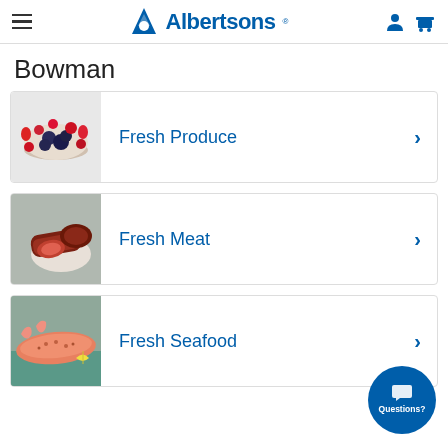Albertsons
Bowman
Fresh Produce
Fresh Meat
Fresh Seafood